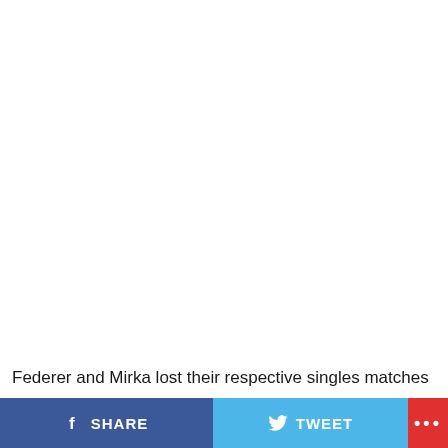[Figure (photo): Large white/blank image area taking up most of the page]
Federer and Mirka lost their respective singles matches
SHARE  TWEET  ...